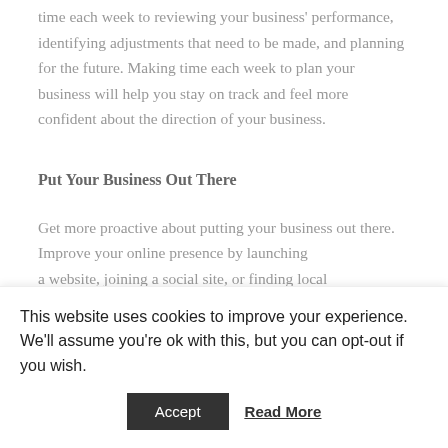time each week to reviewing your business' performance, identifying adjustments that need to be made, and planning for the future. Making time each week to plan your business will help you stay on track and feel more confident about the direction of your business.
Put Your Business Out There
Get more proactive about putting your business out there. Improve your online presence by launching a website, joining a social site, or finding local...
This website uses cookies to improve your experience. We'll assume you're ok with this, but you can opt-out if you wish.